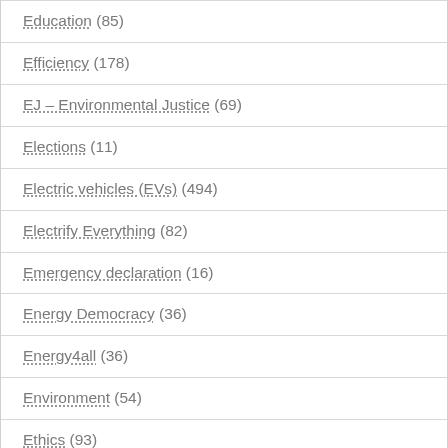Education (85)
Efficiency (178)
EJ – Environmental Justice (69)
Elections (11)
Electric vehicles (EVs) (494)
Electrify Everything (82)
Emergency declaration (16)
Energy Democracy (36)
Energy4all (36)
Environment (54)
Ethics (93)